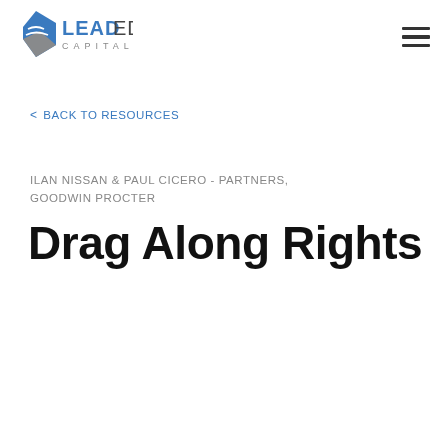LEAD EDGE CAPITAL
< BACK TO RESOURCES
ILAN NISSAN & PAUL CICERO - PARTNERS, GOODWIN PROCTER
Drag Along Rights